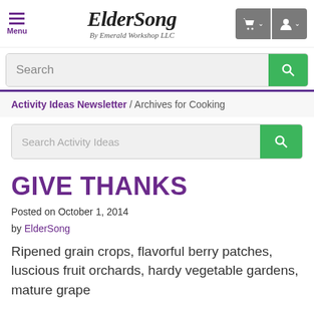ElderSong By Emerald Workshop LLC
Search
Activity Ideas Newsletter / Archives for Cooking
Search Activity Ideas
GIVE THANKS
Posted on October 1, 2014 by ElderSong
Ripened grain crops, flavorful berry patches, luscious fruit orchards, hardy vegetable gardens, mature grape vineyards — the fall harvest season is...